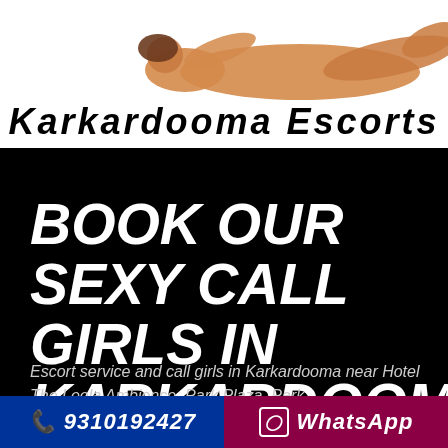[Figure (photo): Person lying down in orange/tan swimwear at the top of the banner]
Karkardooma Escorts
BOOK OUR SEXY CALL GIRLS IN KARKARDOOMA
Escort service and call girls in Karkardooma near Hotel The Leela Ambience, Park Plaza, Park
9310192427   WhatsApp